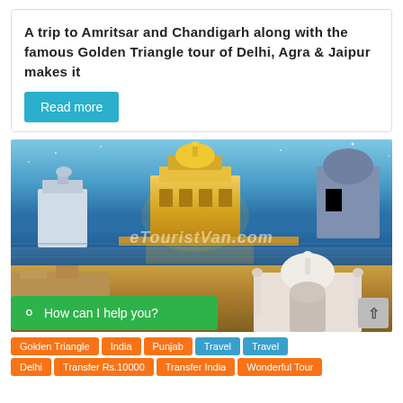A trip to Amritsar and Chandigarh along with the famous Golden Triangle tour of Delhi, Agra & Jaipur makes it
Read more
[Figure (photo): Composite photo showing the Golden Temple in Amritsar illuminated at night with its reflection in water, and the Taj Mahal in the foreground. Watermark text reads 'eTouristVan.com']
How can I help you?
Golden Triangle  India  Punjab  Travel  Travel
Delhi  Transfer Rs.10000  Transfer India  Wonderful Tour